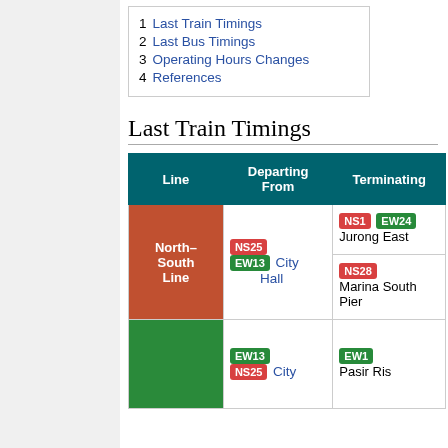|  |  |
| --- | --- |
| 1 | Last Train Timings |
| 2 | Last Bus Timings |
| 3 | Operating Hours Changes |
| 4 | References |
Last Train Timings
| Line | Departing From | Terminating |
| --- | --- | --- |
| North–South Line | NS25 EW13 City Hall | NS1 EW24 Jurong East | NS28 Marina South Pier |
| (East–West Line visible) | EW13 NS25 City | EW1 Pasir Ris |